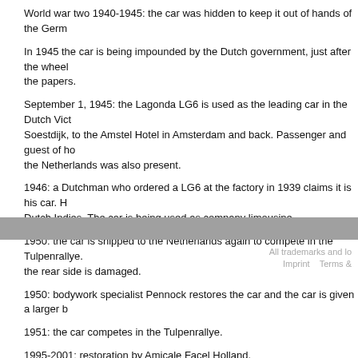World war two 1940-1945: the car was hidden to keep it out of hands of the Germ...
In 1945 the car is being impounded by the Dutch government, just after the wheel... the papers.
September 1, 1945: the Lagonda LG6 is used as the leading car in the Dutch Vict... Soestdijk, to the Amstel Hotel in Amsterdam and back. Passenger and guest of ho... the Netherlands was also present.
1946: a Dutchman who ordered a LG6 at the factory in 1939 claims it is his car. H... Dutch Indies. The car is being used as company limousine.
1950: the car is shipped to the Netherlands again to compete in the Tulpenrallye. ... the rear side is damaged.
1950: bodywork specialist Pennock restores the car and the car is given a larger b...
1951: the car competes in the Tulpenrallye.
1995-2001: restoration by Amicale Facel Holland.
All trademarks and lo... Imprint   Terms &...